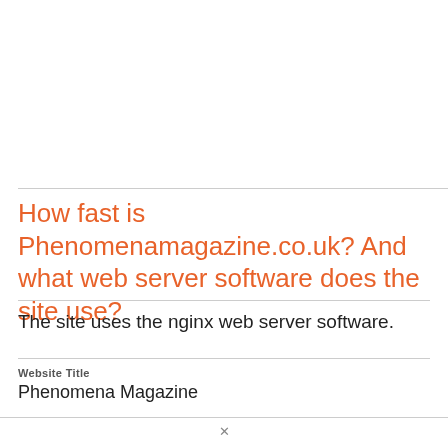How fast is Phenomenamagazine.co.uk? And what web server software does the site use?
The site uses the nginx web server software.
Website Title
Phenomena Magazine